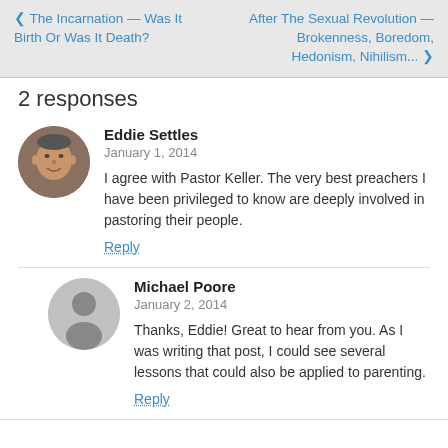< The Incarnation — Was It Birth Or Was It Death?    After The Sexual Revolution — Brokenness, Boredom, Hedonism, Nihilism... >
2 responses
Eddie Settles
January 1, 2014
I agree with Pastor Keller. The very best preachers I have been privileged to know are deeply involved in pastoring their people.
Reply
Michael Poore
January 2, 2014
Thanks, Eddie! Great to hear from you. As I was writing that post, I could see several lessons that could also be applied to parenting.
Reply